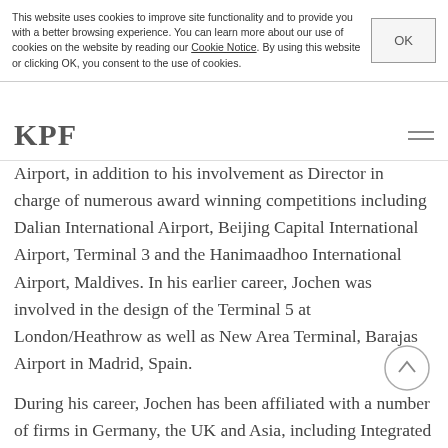This website uses cookies to improve site functionality and to provide you with a better browsing experience. You can learn more about our use of cookies on the website by reading our Cookie Notice. By using this website or clicking OK, you consent to the use of cookies.
KPF
Airport, in addition to his involvement as Director in charge of numerous award winning competitions including Dalian International Airport, Beijing Capital International Airport, Terminal 3 and the Hanimaadhoo International Airport, Maldives. In his earlier career, Jochen was involved in the design of the Terminal 5 at London/Heathrow as well as New Area Terminal, Barajas Airport in Madrid, Spain.
During his career, Jochen has been affiliated with a number of firms in Germany, the UK and Asia, including Integrated Design Associates Ltd. in Hong